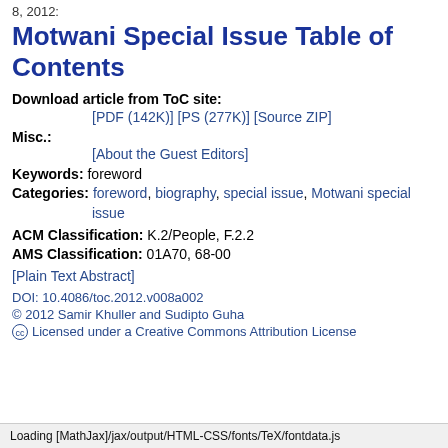8, 2012:
Motwani Special Issue Table of Contents
Download article from ToC site:
[PDF (142K)] [PS (277K)] [Source ZIP]
Misc.:
[About the Guest Editors]
Keywords: foreword
Categories: foreword, biography, special issue, Motwani special issue
ACM Classification: K.2/People, F.2.2
AMS Classification: 01A70, 68-00
[Plain Text Abstract]
DOI: 10.4086/toc.2012.v008a002
© 2012 Samir Khuller and Sudipto Guha
Licensed under a Creative Commons Attribution License
Loading [MathJax]/jax/output/HTML-CSS/fonts/TeX/fontdata.js